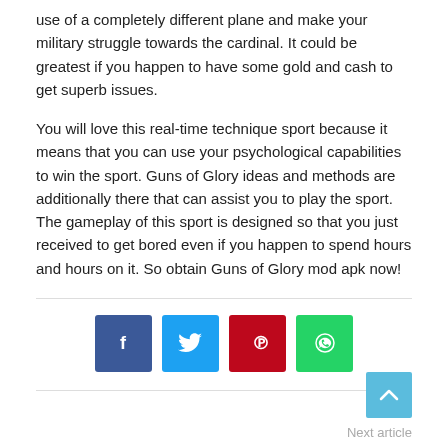use of a completely different plane and make your military struggle towards the cardinal. It could be greatest if you happen to have some gold and cash to get superb issues.
You will love this real-time technique sport because it means that you can use your psychological capabilities to win the sport. Guns of Glory ideas and methods are additionally there that can assist you to play the sport. The gameplay of this sport is designed so that you just received to get bored even if you happen to spend hours and hours on it. So obtain Guns of Glory mod apk now!
[Figure (other): Social share buttons: Facebook (blue), Twitter (light blue), Pinterest (red), WhatsApp (green)]
Next article